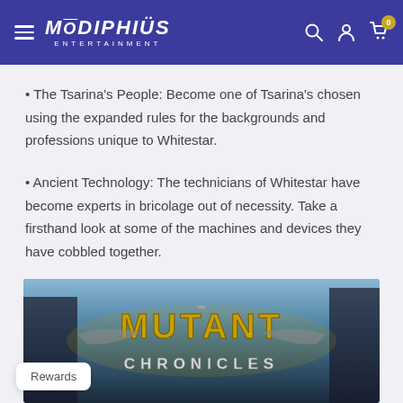Modiphius Entertainment — navigation bar with hamburger menu, logo, search, account, and cart icons
• The Tsarina's People: Become one of Tsarina's chosen using the expanded rules for the backgrounds and professions unique to Whitestar.
• Ancient Technology: The technicians of Whitestar have become experts in bricolage out of necessity. Take a firsthand look at some of the machines and devices they have cobbled together.
[Figure (illustration): Mutant Chronicles logo/banner image with golden stylized text 'MUTANT CHRONICLES' on a dark fantasy background with mechanical and gothic elements]